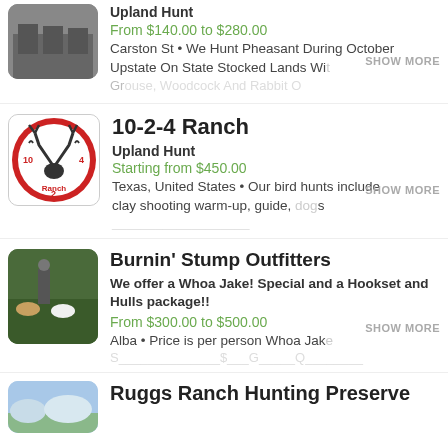[Figure (photo): Partial listing: hunters with dogs photo, cropped at top]
Upland Hunt
From $140.00 to $280.00
Carston St • We Hunt Pheasant During October Upstate On State Stocked Lands Wi...
[Figure (logo): 10-2-4 Ranch logo: red circle with deer antlers and birds]
10-2-4 Ranch
Upland Hunt
Starting from $450.00
Texas, United States • Our bird hunts include clay shooting warm-up, guide, dogs...
[Figure (photo): Person with hunting dogs in field]
Burnin' Stump Outfitters
We offer a Whoa Jake! Special and a Hookset and Hulls package!!
From $300.00 to $500.00
Alba • Price is per person Whoa Jake...
[Figure (photo): Sky/field photo, partially visible at bottom]
Ruggs Ranch Hunting Preserve